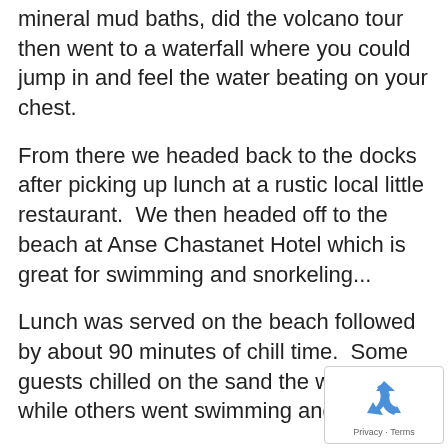mineral mud baths, did the volcano tour then went to a waterfall where you could jump in and feel the water beating on your chest.
From there we headed back to the docks after picking up lunch at a rustic local little restaurant.  We then headed off to the beach at Anse Chastanet Hotel which is great for swimming and snorkeling...
Lunch was served on the beach followed by about 90 minutes of chill time.  Some guests chilled on the sand the whole time while others went swimming and others
[Figure (logo): Google reCAPTCHA badge with recycling-arrows logo and Privacy-Terms links]